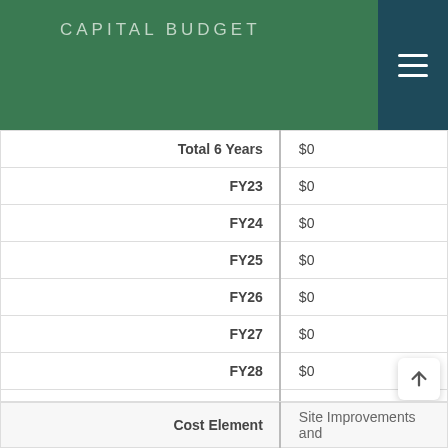CAPITAL BUDGET
| Label | Value |
| --- | --- |
| Total 6 Years | $0 |
| FY23 | $0 |
| FY24 | $0 |
| FY25 | $0 |
| FY26 | $0 |
| FY27 | $0 |
| FY28 | $0 |
| Beyond 6 Years | $0 |
| Cost Element |  |
| --- | --- |
| Cost Element | Site Improvements and |